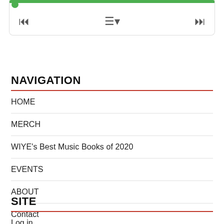[Figure (screenshot): Audio player widget with green progress bar and playback controls (previous, playlist menu, next)]
NAVIGATION
HOME
MERCH
WIYE's Best Music Books of 2020
EVENTS
ABOUT
Contact
SITE
Log in